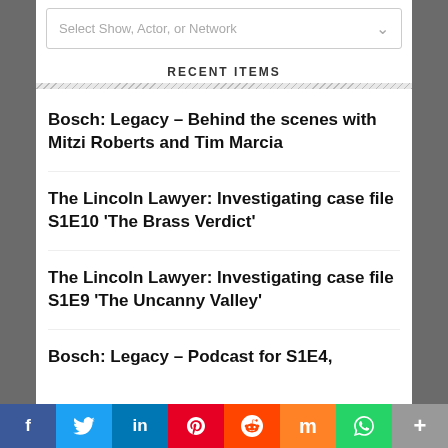Select Show, Actor, or Network
RECENT ITEMS
Bosch: Legacy – Behind the scenes with Mitzi Roberts and Tim Marcia
The Lincoln Lawyer: Investigating case file S1E10 'The Brass Verdict'
The Lincoln Lawyer: Investigating case file S1E9 'The Uncanny Valley'
Bosch: Legacy – Podcast for S1E4,
f  Twitter  in  P  Reddit  m  WhatsApp  More